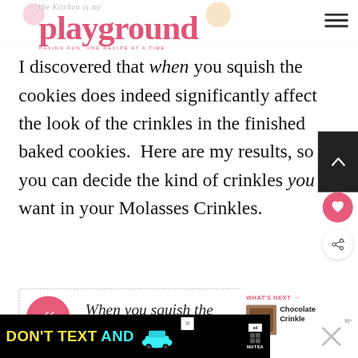[Figure (logo): The Kitchen is My Playground blog logo with pink script text and cupcake decorations]
I discovered that when you squish the cookies does indeed significantly affect the look of the crinkles in the finished baked cookies.  Here are my results, so you can decide the kind of crinkles you want in your Molasses Crinkles.
When you squish the cookies does indeed significantly affect...
[Figure (screenshot): What's Next panel showing Chocolate Crinkle Cake thumbnail]
[Figure (photo): DON'T TEXT AND DRIVE advertisement banner with car graphic and NHTSA logo]